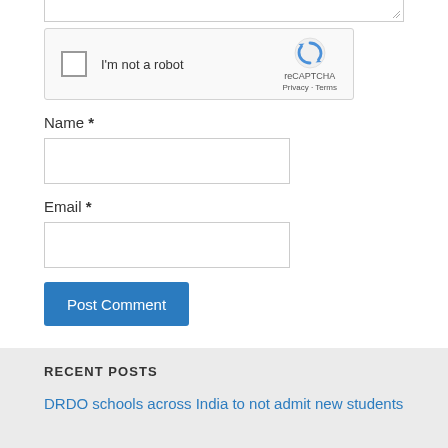[Figure (screenshot): reCAPTCHA widget with checkbox labeled 'I'm not a robot', reCAPTCHA logo, Privacy and Terms links]
Name *
[Figure (screenshot): Name input text field, empty]
Email *
[Figure (screenshot): Email input text field, empty]
Post Comment
RECENT POSTS
DRDO schools across India to not admit new students